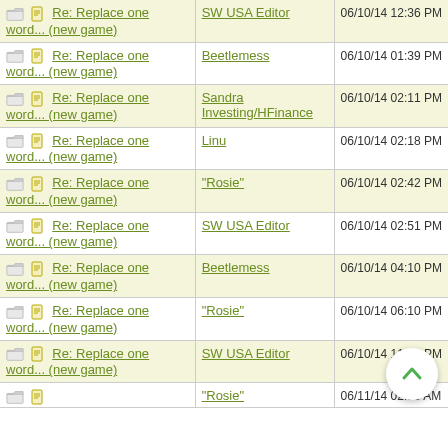| Title | Author | Date |
| --- | --- | --- |
| Re: Replace one word... (new game) | SW USA Editor | 06/10/14 12:36 PM |
| Re: Replace one word... (new game) | Beetlemess | 06/10/14 01:39 PM |
| Re: Replace one word... (new game) | Sandra Investing/HFinance | 06/10/14 02:11 PM |
| Re: Replace one word... (new game) | Linu | 06/10/14 02:18 PM |
| Re: Replace one word... (new game) | "Rosie" | 06/10/14 02:42 PM |
| Re: Replace one word... (new game) | SW USA Editor | 06/10/14 02:51 PM |
| Re: Replace one word... (new game) | Beetlemess | 06/10/14 04:10 PM |
| Re: Replace one word... (new game) | "Rosie" | 06/10/14 06:10 PM |
| Re: Replace one word... (new game) | SW USA Editor | 06/10/14 11:54 PM |
| Re: Replace one word... (new game) | "Rosie" | 06/11/14 02:20 AM |